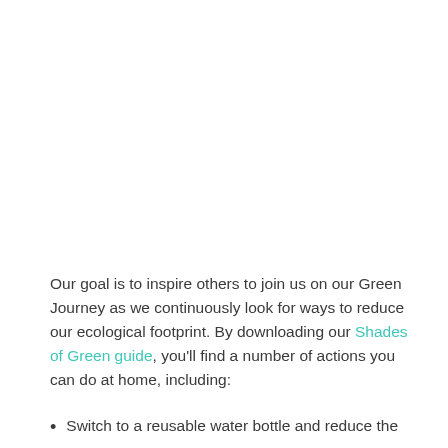Our goal is to inspire others to join us on our Green Journey as we continuously look for ways to reduce our ecological footprint. By downloading our Shades of Green guide, you'll find a number of actions you can do at home, including:
Switch to a reusable water bottle and reduce the